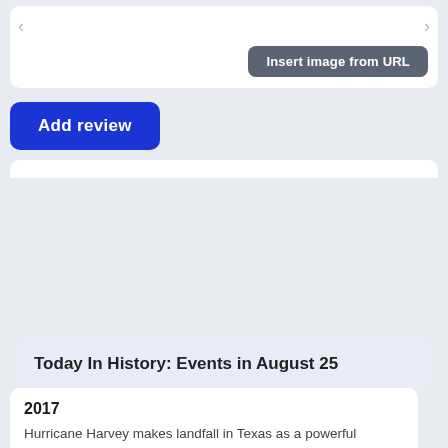[Figure (screenshot): Web page UI showing an image upload area with 'Insert image from URL' button and left/right arrows]
Add review
Today In History: Events in August 25
2017
Hurricane Harvey makes landfall in Texas as a powerful Category hurricane, the strongest hurricane to make landfall in the United States since 2004. Over the next few days, the storm causes catastrophic flooding throughout much of eastern Texas, killing 106